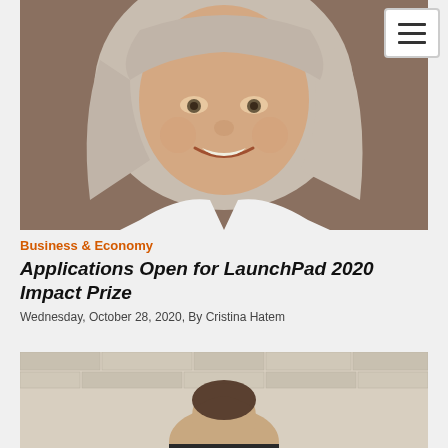[Figure (photo): Portrait photo of an older woman with long gray hair, smiling, wearing a white top, photographed indoors.]
Business & Economy
Applications Open for LaunchPad 2020 Impact Prize
Wednesday, October 28, 2020, By Cristina Hatem
[Figure (photo): Partial photo of a person from the shoulders up, appearing to be indoors near a brick or stone wall.]